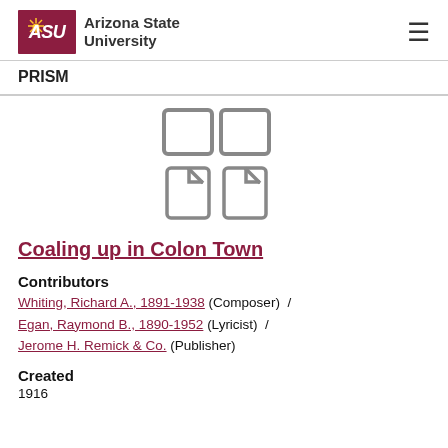ASU Arizona State University | PRISM
[Figure (other): Grid icon showing four document/page tiles arranged in a 2x2 grid pattern]
Coaling up in Colon Town
Contributors
Whiting, Richard A., 1891-1938 (Composer) / Egan, Raymond B., 1890-1952 (Lyricist) / Jerome H. Remick & Co. (Publisher)
Created
1916